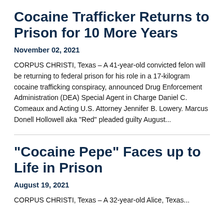Cocaine Trafficker Returns to Prison for 10 More Years
November 02, 2021
CORPUS CHRISTI, Texas – A 41-year-old convicted felon will be returning to federal prison for his role in a 17-kilogram cocaine trafficking conspiracy, announced Drug Enforcement Administration (DEA) Special Agent in Charge Daniel C. Comeaux and Acting U.S. Attorney Jennifer B. Lowery. Marcus Donell Hollowell aka "Red" pleaded guilty August...
“Cocaine Pepe” Faces up to Life in Prison
August 19, 2021
CORPUS CHRISTI, Texas – A 32-year-old Alice, Texas...